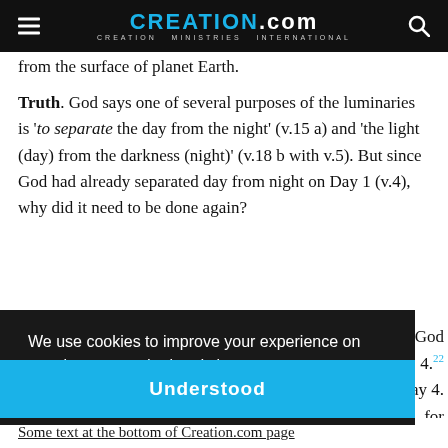CREATION.com — CREATION MINISTRIES INTERNATIONAL
from the surface of planet Earth.
Truth. God says one of several purposes of the luminaries is 'to separate the day from the night' (v.15 a) and 'the light (day) from the darkness (night)' (v.18 b with v.5). But since God had already separated day from night on Day 1 (v.4), why did it need to be done again?
We use cookies to improve your experience on creation.com and related sites. Privacy Policy
Understood